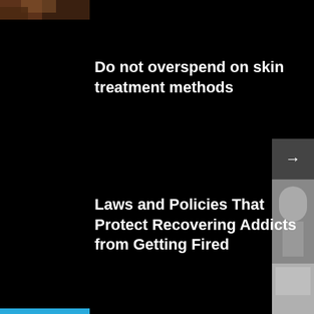[Figure (photo): Partial photo thumbnail at top-left corner, cropped, showing skin/face tones in brown/orange]
Do not overspend on skin treatment methods
Laws and Policies That Protect Recovering Addicts from Getting Fired
[Figure (photo): Arrow button (→) in dark gray square on right sidebar]
[Figure (photo): Grayscale photo thumbnail on right sidebar, upper portion]
Te
[Figure (photo): Grayscale photo thumbnail on right sidebar, lower portion]
[Figure (other): Blue horizontal bar at bottom-left]